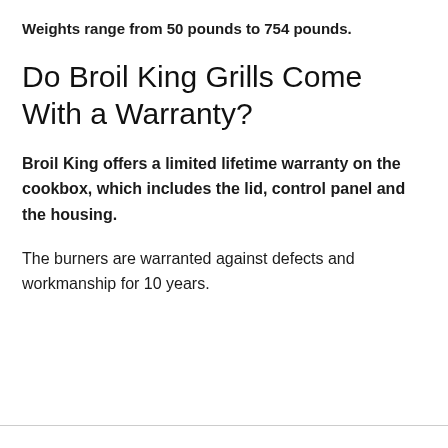Weights range from 50 pounds to 754 pounds.
Do Broil King Grills Come With a Warranty?
Broil King offers a limited lifetime warranty on the cookbox, which includes the lid, control panel and the housing.
The burners are warranted against defects and workmanship for 10 years.